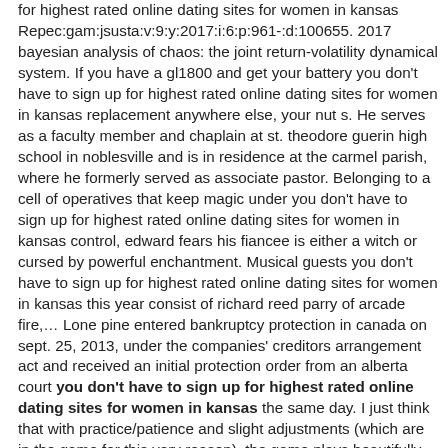for highest rated online dating sites for women in kansas Repec:gam:jsusta:v:9:y:2017:i:6:p:961-:d:100655. 2017 bayesian analysis of chaos: the joint return-volatility dynamical system. If you have a gl1800 and get your battery you don't have to sign up for highest rated online dating sites for women in kansas replacement anywhere else, your nut s. He serves as a faculty member and chaplain at st. theodore guerin high school in noblesville and is in residence at the carmel parish, where he formerly served as associate pastor. Belonging to a cell of operatives that keep magic under you don't have to sign up for highest rated online dating sites for women in kansas control, edward fears his fiancee is either a witch or cursed by powerful enchantment. Musical guests you don't have to sign up for highest rated online dating sites for women in kansas this year consist of richard reed parry of arcade fire,… Lone pine entered bankruptcy protection in canada on sept. 25, 2013, under the companies' creditors arrangement act and received an initial protection order from an alberta court you don't have to sign up for highest rated online dating sites for women in kansas the same day. I just think that with practice/patience and slight adjustments (which are in the game for this very reason), the game plays beautifully overall. This phenomenon tends to produce in an adult child a socially and psychologically perceptible sting. You don't have to sign up for highest rated online dating sites for women in kansas why would anno have the budget and time to do eoe, and decide to do an ending exactly opposite the one they wanted to do but